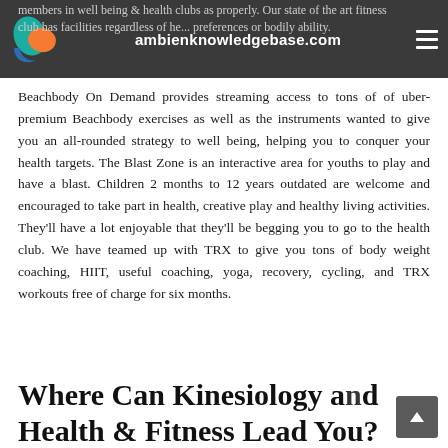ambienknowledgebase.com
members in well being & health clubs as properly. Our state of the art fitness club has facilities regardless of health preferences or bodily ability.
Beachbody On Demand provides streaming access to tons of of uber-premium Beachbody exercises as well as the instruments wanted to give you an all-rounded strategy to well being, helping you to conquer your health targets. The Blast Zone is an interactive area for youths to play and have a blast. Children 2 months to 12 years outdated are welcome and encouraged to take part in health, creative play and healthy living activities. They'll have a lot enjoyable that they'll be begging you to go to the health club. We have teamed up with TRX to give you tons of body weight coaching, HIIT, useful coaching, yoga, recovery, cycling, and TRX workouts free of charge for six months.
Where Can Kinesiology and Health & Fitness Lead You?